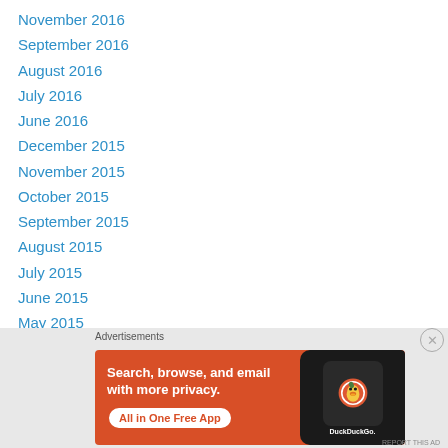November 2016
September 2016
August 2016
July 2016
June 2016
December 2015
November 2015
October 2015
September 2015
August 2015
July 2015
June 2015
May 2015
April 2015
Advertisements
[Figure (illustration): DuckDuckGo advertisement banner: orange background, white text reading 'Search, browse, and email with more privacy. All in One Free App', with a smartphone showing the DuckDuckGo logo on a dark screen.]